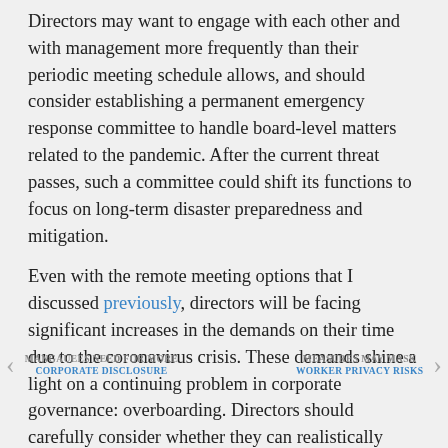Directors may want to engage with each other and with management more frequently than their periodic meeting schedule allows, and should consider establishing a permanent emergency response committee to handle board-level matters related to the pandemic. After the current threat passes, such a committee could shift its functions to focus on long-term disaster preparedness and mitigation.
Even with the remote meeting options that I discussed previously, directors will be facing significant increases in the demands on their time due to the coronavirus crisis. These demands shine a light on a continuing problem in corporate governance: overboarding. Directors should carefully consider whether they can realistically meet the expectations placed on them in a time of crisis when they are serving on several boards at the same time. The investor community, and the